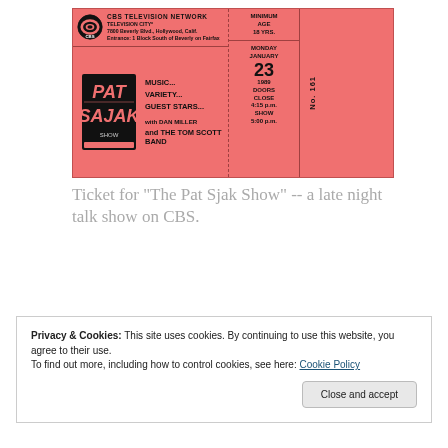[Figure (photo): A pink CBS Television Network ticket stub for The Pat Sajak Show. Shows CBS eye logo, Television City address (7800 Beverly Blvd., Hollywood, Calif.), Minimum Age 18 YRS., Monday January 23 1989, Doors Close 4:15 p.m., Show 5:00 p.m., with Dan Miller and The Tom Scott Band, No. 161.]
Ticket for "The Pat Sjak Show" -- a late night talk show on CBS.
[Figure (screenshot): Dark advertisement banner partially visible, with teal/cyan text reading 'course with WordPress', and a pink curved shape on the left. 'REPORT THIS AD' text in small gray letters below.]
Privacy & Cookies: This site uses cookies. By continuing to use this website, you agree to their use. To find out more, including how to control cookies, see here: Cookie Policy